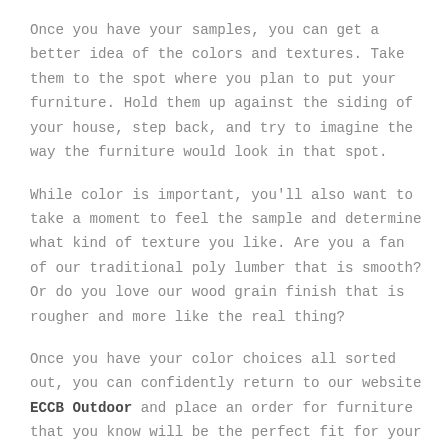Once you have your samples, you can get a better idea of the colors and textures. Take them to the spot where you plan to put your furniture. Hold them up against the siding of your house, step back, and try to imagine the way the furniture would look in that spot.
While color is important, you'll also want to take a moment to feel the sample and determine what kind of texture you like. Are you a fan of our traditional poly lumber that is smooth? Or do you love our wood grain finish that is rougher and more like the real thing?
Once you have your color choices all sorted out, you can confidently return to our website ECCB Outdoor and place an order for furniture that you know will be the perfect fit for your home. If you need some color inspiration take a look at